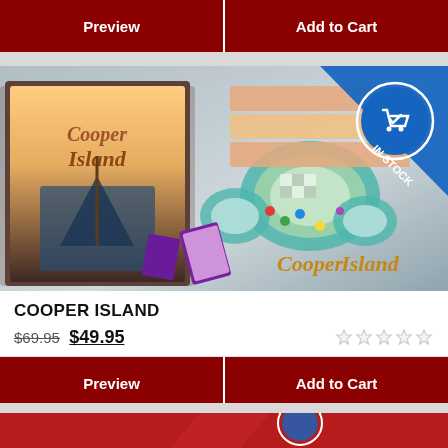[Figure (screenshot): Top portion of a board game product listing page showing Preview and Add to Cart buttons in dark red, followed by a product card for Cooper Island board game with box art and game components spread out, an IN STOCK badge in the top right, the product title COOPER ISLAND, original price $69.95 struck through, sale price $49.95, star rating icons, and Preview / Add to Cart buttons. Bottom shows the start of another product image.]
Preview
Add to Cart
COOPER ISLAND
$69.95  $49.95
Preview
Add to Cart